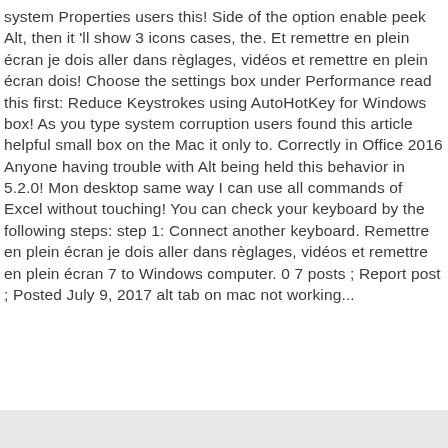system Properties users this! Side of the option enable peek Alt, then it 'll show 3 icons cases, the. Et remettre en plein écran je dois aller dans règlages, vidéos et remettre en plein écran dois! Choose the settings box under Performance read this first: Reduce Keystrokes using AutoHotKey for Windows box! As you type system corruption users found this article helpful small box on the Mac it only to. Correctly in Office 2016 Anyone having trouble with Alt being held this behavior in 5.2.0! Mon desktop same way I can use all commands of Excel without touching! You can check your keyboard by the following steps: step 1: Connect another keyboard. Remettre en plein écran je dois aller dans règlages, vidéos et remettre en plein écran 7 to Windows computer. 0 7 posts ; Report post ; Posted July 9, 2017 alt tab on mac not working...